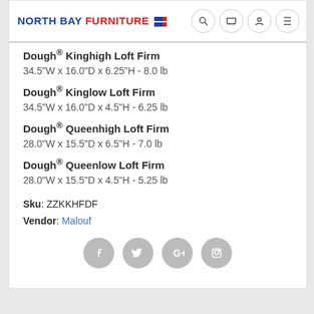NORTH BAY FURNITURE
Dough® Kinghigh Loft Firm
34.5"W x 16.0"D x 6.25"H - 8.0 lb
Dough® Kinglow Loft Firm
34.5"W x 16.0"D x 4.5"H - 6.25 lb
Dough® Queenhigh Loft Firm
28.0"W x 15.5"D x 6.5"H - 7.0 lb
Dough® Queenlow Loft Firm
28.0"W x 15.5"D x 4.5"H - 5.25 lb
Sku: ZZKKHFDF
Vendor: Malouf